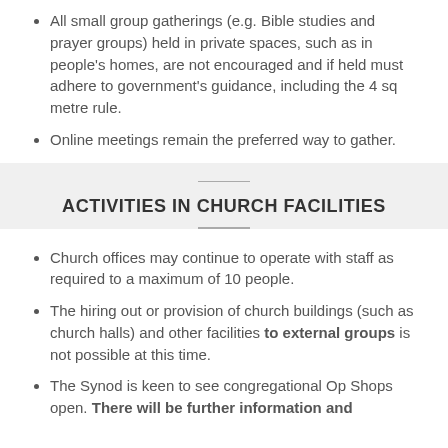All small group gatherings (e.g. Bible studies and prayer groups) held in private spaces, such as in people's homes, are not encouraged and if held must adhere to government's guidance, including the 4 sq metre rule.
Online meetings remain the preferred way to gather.
ACTIVITIES IN CHURCH FACILITIES
Church offices may continue to operate with staff as required to a maximum of 10 people.
The hiring out or provision of church buildings (such as church halls) and other facilities to external groups is not possible at this time.
The Synod is keen to see congregational Op Shops open. There will be further information and